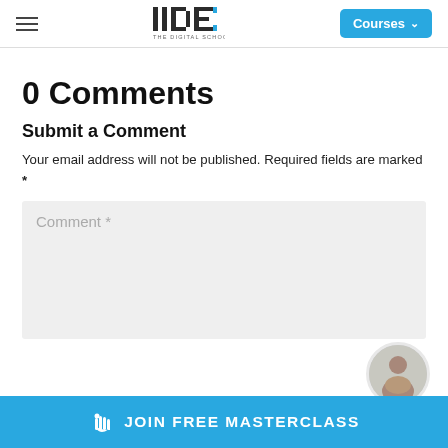IIDE – THE DIGITAL SCHOOL | Courses
0 Comments
Submit a Comment
Your email address will not be published. Required fields are marked *
[Figure (screenshot): Comment text area input field with placeholder text 'Comment *' on a light grey background]
JOIN FREE MASTERCLASS